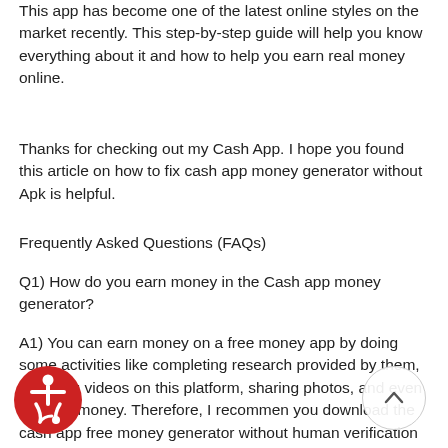This app has become one of the latest online styles on the market recently. This step-by-step guide will help you know everything about it and how to help you earn real money online.
Thanks for checking out my Cash App. I hope you found this article on how to fix cash app money generator without Apk is helpful.
Frequently Asked Questions (FAQs)
Q1) How do you earn money in the Cash app money generator?
A1) You can earn money on a free money app by doing some activities like completing research provided by them, watching videos on this platform, sharing photos, and even sending money. Therefore, I recommend you download the cash app free money generator without human verification app as